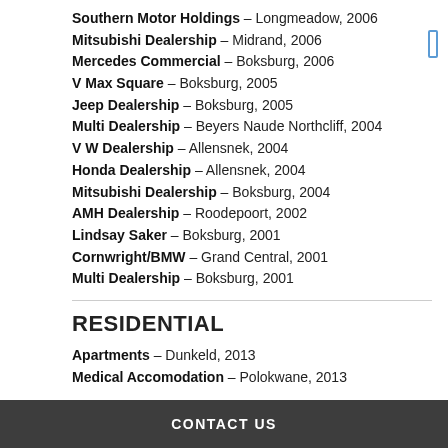Southern Motor Holdings – Longmeadow, 2006
Mitsubishi Dealership – Midrand, 2006
Mercedes Commercial – Boksburg, 2006
V Max Square – Boksburg, 2005
Jeep Dealership – Boksburg, 2005
Multi Dealership – Beyers Naude Northcliff, 2004
V W Dealership – Allensnek, 2004
Honda Dealership – Allensnek, 2004
Mitsubishi Dealership – Boksburg, 2004
AMH Dealership – Roodepoort, 2002
Lindsay Saker – Boksburg, 2001
Cornwright/BMW – Grand Central, 2001
Multi Dealership – Boksburg, 2001
RESIDENTIAL
Apartments – Dunkeld, 2013
Medical Accomodation – Polokwane, 2013
CONTACT US